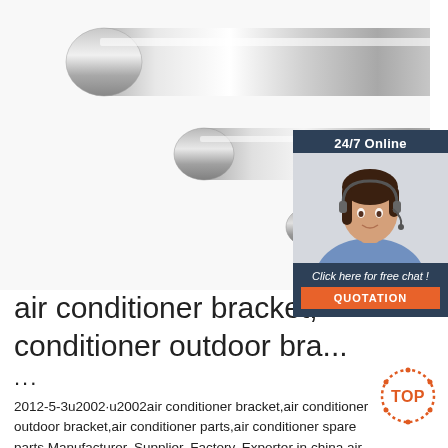[Figure (photo): Chrome/stainless steel cylindrical rods arranged diagonally on white background, varying sizes]
[Figure (infographic): 24/7 Online chat widget with dark blue background, customer service representative photo, 'Click here for free chat!' text and orange QUOTATION button]
air conditioner bracket, conditioner outdoor bra...
...
2012-5-3u2002·u2002air conditioner bracket,air conditioner outdoor bracket,air conditioner parts,air conditioner spare parts,Manufacturer, Supplier, Factory, Exporter in china air conditioner
[Figure (logo): TOP logo in orange/red dotted circle with 'TOP' text]